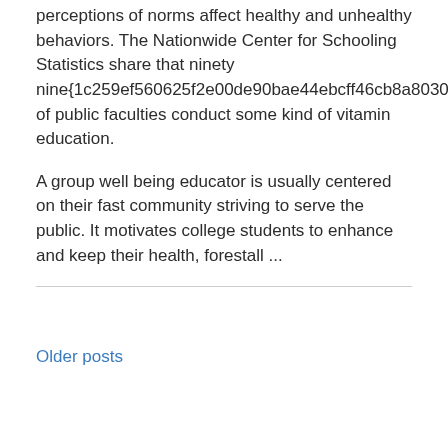perceptions of norms affect healthy and unhealthy behaviors. The Nationwide Center for Schooling Statistics share that ninety nine{1c259ef560625f2e00de90bae44ebcff46cb8a803088a1a08ad8d17d4e0626cf} of public faculties conduct some kind of vitamin education.
A group well being educator is usually centered on their fast community striving to serve the public. It motivates college students to enhance and keep their health, forestall ...
Older posts